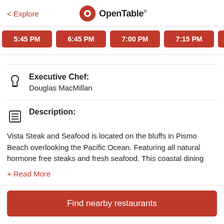< Explore | OpenTable
5:45 PM
6:45 PM
7:00 PM
7:15 PM
7:30 PM
Executive Chef:
Douglas MacMillan
Description:
Vista Steak and Seafood is located on the bluffs in Pismo Beach overlooking the Pacific Ocean. Featuring all natural hormone free steaks and fresh seafood. This coastal dining
+ Read More
Find nearby restaurants